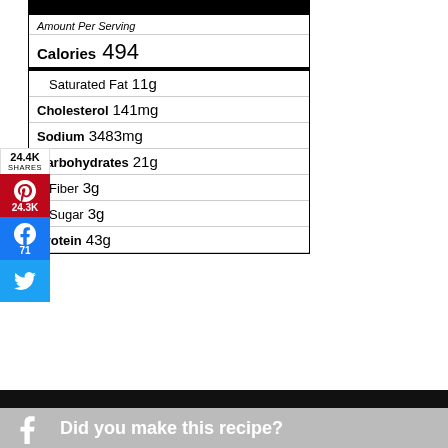| Nutrient | Amount |
| --- | --- |
| Amount Per Serving |  |
| Calories | 494 |
| Saturated Fat | 11g |
| Cholesterol | 141mg |
| Sodium | 3483mg |
| Carbohydrates | 21g |
| Fiber | 3g |
| Sugar | 3g |
| Protein | 43g |
Did you make this recipe?